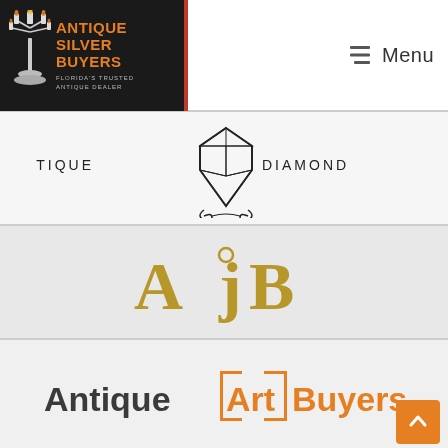[Figure (logo): Antique Silver Buyers - Florida's Trusted Antique Dealer logo with candelabra graphic, dark background, orange text]
Menu
[Figure (logo): Antique Diamond logo with geometric diamond shape and decorative scrollwork]
[Figure (logo): AjB logo in gold/tan serif font with degree symbol]
[Figure (logo): Antique Art Buyers logo with bracket design in orange]
[Figure (logo): Antique Coins logo partially visible at bottom]